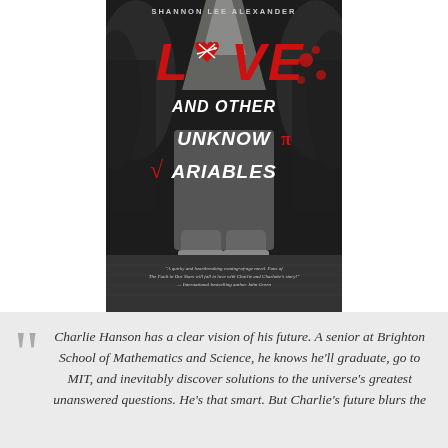[Figure (illustration): Book cover of 'Love and Other Unknown Variables' by Shannon Lee Alexander. Black and white photo background showing a person's midsection with sneakers. Red heart with mathematical cross-lines for the 'o' in Love, red mathematical symbols integrated into the title text. Title reads: LOVE AND OTHER UNKNOWN VARIABLES. Author name at top: SHANNON LEE ALEXANDER. Quote at bottom from International bestselling author John Green.]
Charlie Hanson has a clear vision of his future. A senior at Brighton School of Mathematics and Science, he knows he'll graduate, go to MIT, and inevitably discover solutions to the universe's greatest unanswered questions. He's that smart. But Charlie's future blurs the